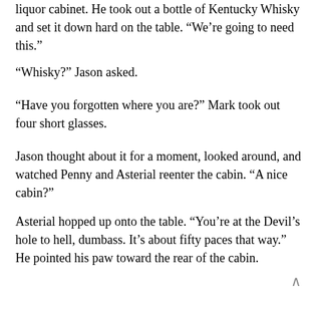liquor cabinet. He took out a bottle of Kentucky Whisky and set it down hard on the table. “We’re going to need this.”
“Whisky?” Jason asked.
“Have you forgotten where you are?” Mark took out four short glasses.
Jason thought about it for a moment, looked around, and watched Penny and Asterial reenter the cabin. “A nice cabin?”
Asterial hopped up onto the table. “You’re at the Devil’s hole to hell, dumbass. It’s about fifty paces that way.” He pointed his paw toward the rear of the cabin.
“What? It’s an actual hole to hell?”
“Yep, and it’s Mark’s job to guard it.” Asterial said. He